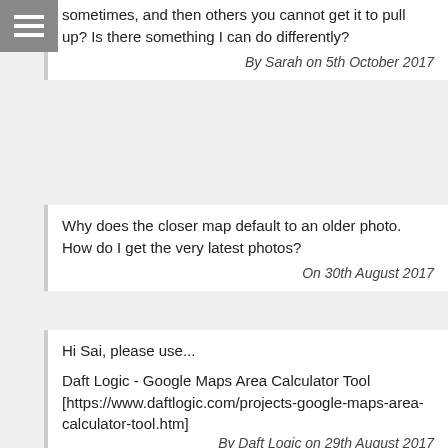[Figure (other): Hamburger menu button icon (three horizontal lines) on grey background]
sometimes, and then others you cannot get it to pull up? Is there something I can do differently?
By Sarah on 5th October 2017
Why does the closer map default to an older photo. How do I get the very latest photos?
On 30th August 2017
Hi Sai, please use...
Daft Logic - Google Maps Area Calculator Tool [https://www.daftlogic.com/projects-google-maps-area-calculator-tool.htm]
By Daft Logic on 29th August 2017